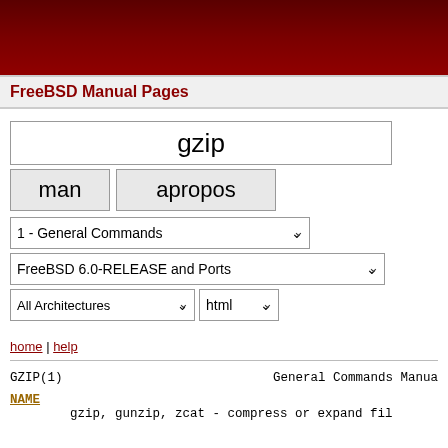[Figure (other): FreeBSD dark red header banner image with decorative gradient]
FreeBSD Manual Pages
gzip [search input field]
man  apropos [buttons]
1 - General Commands [dropdown]
FreeBSD 6.0-RELEASE and Ports [dropdown]
All Architectures [dropdown]  html [dropdown]
home | help
GZIP(1)                        General Commands Manua
NAME
gzip, gunzip, zcat - compress or expand fil